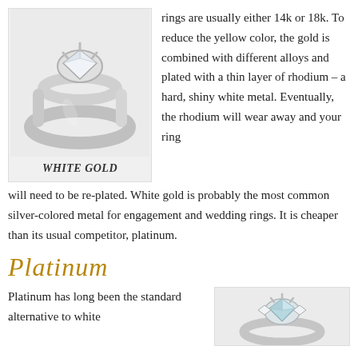[Figure (photo): A white gold solitaire engagement ring with a diamond, displayed on a light gray background]
WHITE GOLD
rings are usually either 14k or 18k. To reduce the yellow color, the gold is combined with different alloys and plated with a thin layer of rhodium – a hard, shiny white metal. Eventually, the rhodium will wear away and your ring will need to be re-plated. White gold is probably the most common silver-colored metal for engagement and wedding rings. It is cheaper than its usual competitor, platinum.
Platinum
Platinum has long been the standard alternative to white
[Figure (photo): A platinum ring with a light blue gemstone, displayed on a light gray background]